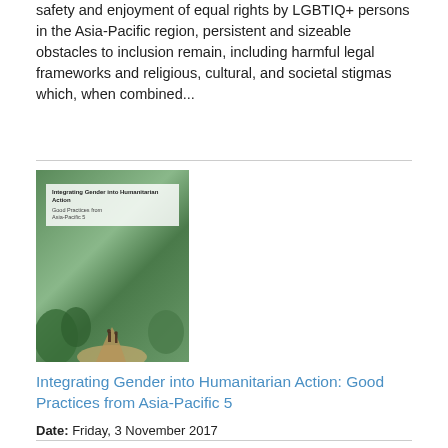safety and enjoyment of equal rights by LGBTIQ+ persons in the Asia-Pacific region, persistent and sizeable obstacles to inclusion remain, including harmful legal frameworks and religious, cultural, and societal stigmas which, when combined...
[Figure (photo): Book cover of 'Integrating Gender into Humanitarian Action: Good Practices from Asia-Pacific 5' showing a tropical path scene with people walking]
Integrating Gender into Humanitarian Action: Good Practices from Asia-Pacific 5
Date: Friday, 3 November 2017
This is the fifth compilation of good practices on integrating gender into humanitarianaction in Asia, developed on behalf of the Regional Network Working Group on Gender inHumanitarian Action in the Asia-Pacific region. In the brochure, we highlight examples fromthe region that support equal treatment of all before, during and after disasters.